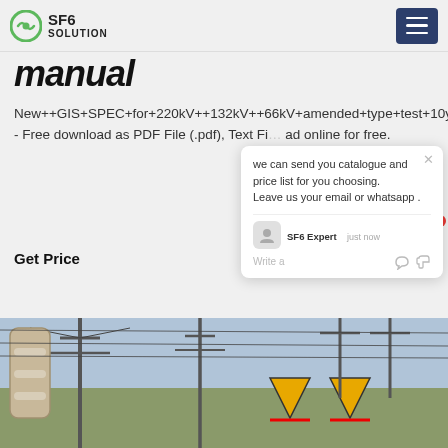SF6 SOLUTION
manual
New++GIS+SPEC+for+220kV++132kV++66kV+amended+type+test+10yrs++may+2018.pdf - Free download as PDF File (.pdf), Text File (.txt), and read online for free.
Get Price
we can send you catalogue and price list for you choosing.
Leave us your email or whatsapp .
SF6 Expert   just now
Write a
[Figure (photo): Electrical substation with transmission towers, insulators, and high-voltage equipment including disconnect switches with red/white markings]